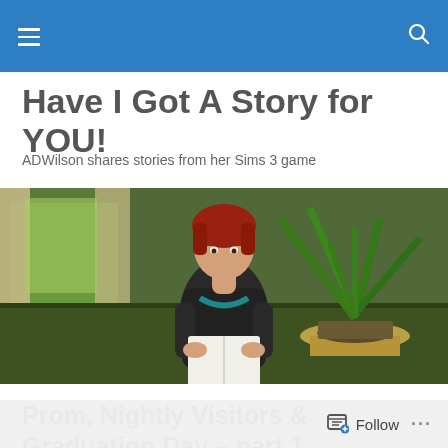Navigation bar with hamburger menu and search icon
Have I Got A Story for YOU!
ADWilson shares stories from her Sims 3 game
[Figure (photo): Screenshot from The Sims 3 game showing a red-haired character reading a book in a green-walled room with a plant on a table]
Prom, Nightly Visitors & Graduation Day – part 1
PROM Day!
Follow